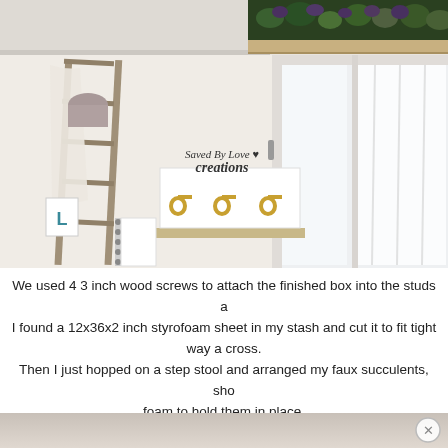[Figure (photo): Interior room photo showing a ladder leaning against a white wall on the left, a wall-mounted shelf with hooks and a 'Saved By Love Creations' sign, a white window with curtain on the right, and a wooden planter box filled with succulents mounted near the ceiling at the top right.]
We used 4 3 inch wood screws to attach the finished box into the studs a I found a 12x36x2 inch styrofoam sheet in my stash and cut it to fit tight way a cross. Then I just hopped on a step stool and arranged my faux succulents, sho foam to hold them in place.
[Figure (photo): Partial bottom image strip showing what appears to be a surface or table, partially cropped, with a close button (X) overlay on the right side.]